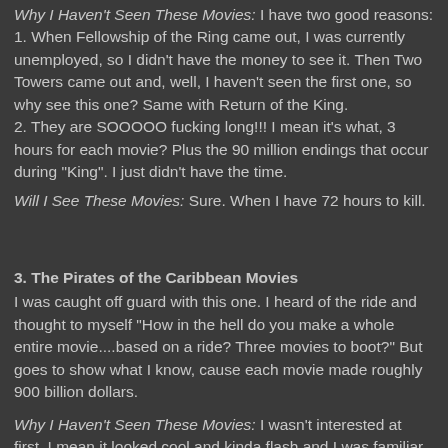Why I Haven't Seen These Movies: I have two good reasons:
1. When Fellowship of the Ring came out, I was currently unemployed, so I didn't have the money to see it. Then Two Towers came out and, well, I haven't seen the first one, so why see this one? Same with Return of the King.
2. They are SOOOOO fucking long!!! I mean it's what, 3 hours for each movie? Plus the 90 million endings that occur during "King". I just didn't have the time.
Will I See These Movies: Sure. When I have 72 hours to kill.
3. The Pirates of the Caribbean Movies
I was caught off guard with this one. I heard of the ride and thought to myself "How in the hell do you make a whole entire movie....based on a ride? Three movies to boot?" But goes to show what I know, cause each movie made roughly 900 billion dollars.
Why I Haven't Seen These Movies: I wasn't interested at first. I mean it looked cool and kinda flash and I was familiar with the director, but I'm not a big pirate movie fan. So I